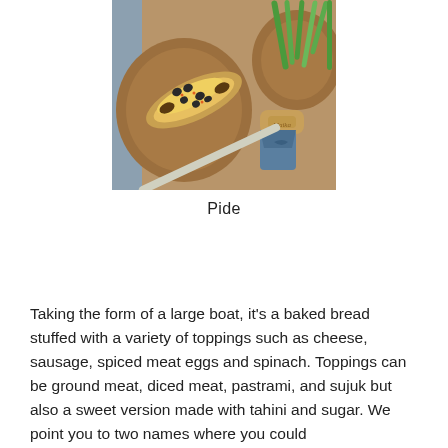[Figure (photo): Overhead view of a pide (Turkish boat-shaped flatbread) with egg and mushroom toppings on a wooden board, alongside a wooden-handled hatchet-style bottle opener and green onions on another wooden board.]
Pide
Taking the form of a large boat, it's a baked bread stuffed with a variety of toppings such as cheese, sausage, spiced meat eggs and spinach. Toppings can be ground meat, diced meat, pastrami, and sujuk but also a sweet version made with tahini and sugar. We point you to two names where you could